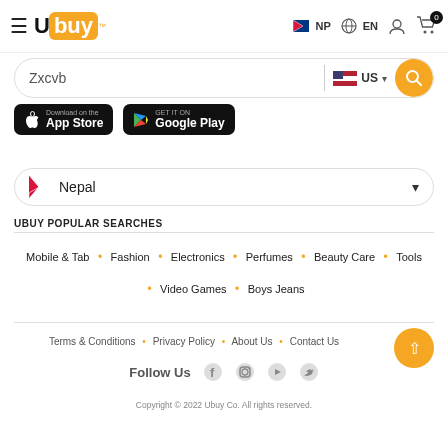[Figure (screenshot): Ubuy e-commerce website header with logo, NP/EN language selector, and cart icon]
Zxcvb
[Figure (screenshot): App Store and Google Play download buttons]
[Figure (screenshot): Country selector dropdown showing Nepal with flag]
UBUY POPULAR SEARCHES
Mobile & Tab • Fashion • Electronics • Perfumes • Beauty Care • Tools • Video Games • Boys Jeans
Terms & Conditions • Privacy Policy • About Us • Contact Us
Follow Us
Copyright © 2022 Ubuy Co. All rights reserved.